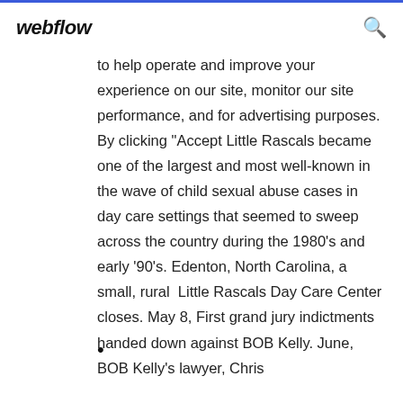webflow
to help operate and improve your experience on our site, monitor our site performance, and for advertising purposes. By clicking "Accept Little Rascals became one of the largest and most well-known in the wave of child sexual abuse cases in day care settings that seemed to sweep across the country during the 1980's and early '90's. Edenton, North Carolina, a small, rural Little Rascals Day Care Center closes. May 8, First grand jury indictments handed down against BOB Kelly. June, BOB Kelly's lawyer, Chris
•
•